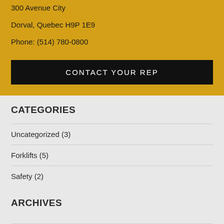300 Avenue City
Dorval, Quebec H9P 1E9
Phone: (514) 780-0800
CONTACT YOUR REP
CATEGORIES
Uncategorized (3)
Forklifts (5)
Safety (2)
ARCHIVES
May 2022
March 2022
February 2022